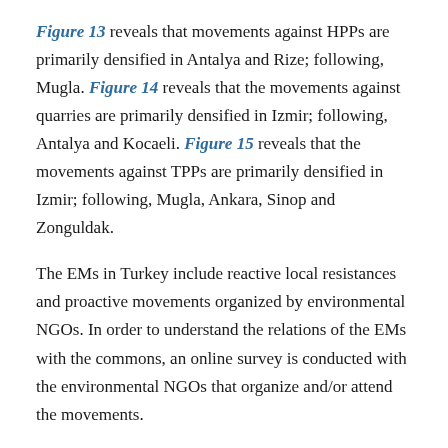Figure 13 reveals that movements against HPPs are primarily densified in Antalya and Rize; following, Mugla. Figure 14 reveals that the movements against quarries are primarily densified in Izmir; following, Antalya and Kocaeli. Figure 15 reveals that the movements against TPPs are primarily densified in Izmir; following, Mugla, Ankara, Sinop and Zonguldak.
The EMs in Turkey include reactive local resistances and proactive movements organized by environmental NGOs. In order to understand the relations of the EMs with the commons, an online survey is conducted with the environmental NGOs that organize and/or attend the movements.
4.2. Survey Results